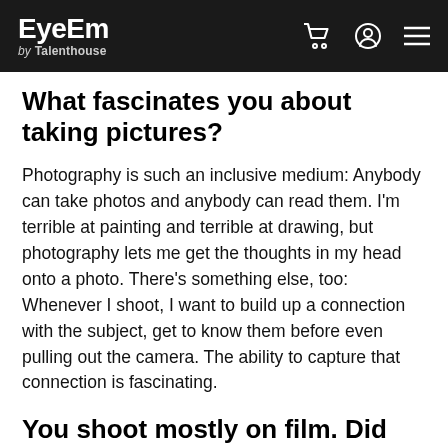EyeEm by Talenthouse
What fascinates you about taking pictures?
Photography is such an inclusive medium: Anybody can take photos and anybody can read them. I'm terrible at painting and terrible at drawing, but photography lets me get the thoughts in my head onto a photo. There's something else, too: Whenever I shoot, I want to build up a connection with the subject, get to know them before even pulling out the camera. The ability to capture that connection is fascinating.
You shoot mostly on film. Did your photography teachers insist on that?